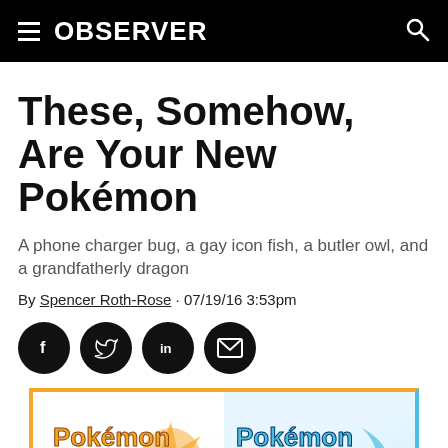OBSERVER
These, Somehow, Are Your New Pokémon
A phone charger bug, a gay icon fish, a butler owl, and a grandfatherly dragon
By Spencer Roth-Rose · 07/19/16 3:53pm
[Figure (other): Social sharing buttons: Facebook, Twitter, LinkedIn, Email]
[Figure (other): Pokémon Sun and Pokémon Moon game logos side by side in an orange and blue bordered frame]